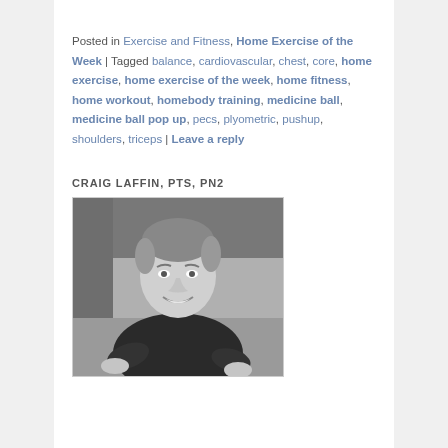Posted in Exercise and Fitness, Home Exercise of the Week | Tagged balance, cardiovascular, chest, core, home exercise, home exercise of the week, home fitness, home workout, homebody training, medicine ball, medicine ball pop up, pecs, plyometric, pushup, shoulders, triceps | Leave a reply
CRAIG LAFFIN, PTS, PN2
[Figure (photo): Black and white portrait photo of Craig Laffin, a man smiling at the camera, wearing a dark t-shirt, seated in what appears to be a gym environment.]